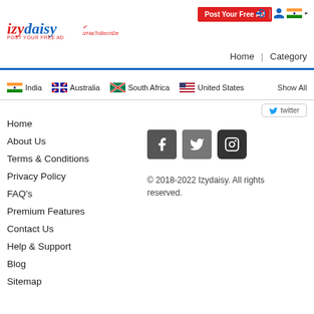[Figure (logo): Izydaisy logo with red italic text and blue letter, tagline POST YOUR FREE AD, and smaller red italic text izHaiToBechDe]
Post Your Free Ad
Home | Category
India  Australia  South Africa  United States    Show All
twitter
Home
About Us
Terms & Conditions
Privacy Policy
FAQ's
Premium Features
Contact Us
Help & Support
Blog
Sitemap
[Figure (logo): Facebook, Twitter, and Instagram social media icons in dark grey rounded squares]
© 2018-2022 Izydaisy. All rights reserved.